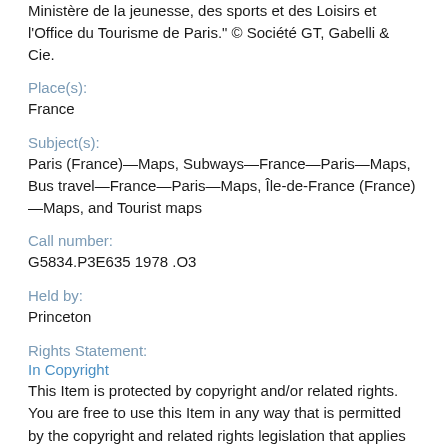Ministère de la jeunesse, des sports et des Loisirs et l'Office du Tourisme de Paris." © Société GT, Gabelli & Cie.
Place(s):
France
Subject(s):
Paris (France)—Maps, Subways—France—Paris—Maps, Bus travel—France—Paris—Maps, Île-de-France (France)—Maps, and Tourist maps
Call number:
G5834.P3E635 1978 .O3
Held by:
Princeton
Rights Statement:
In Copyright
This Item is protected by copyright and/or related rights. You are free to use this Item in any way that is permitted by the copyright and related rights legislation that applies to your use. For other uses you need to obtain permission from the rights-holder(s).
Princeton University Library claims no copyright or license